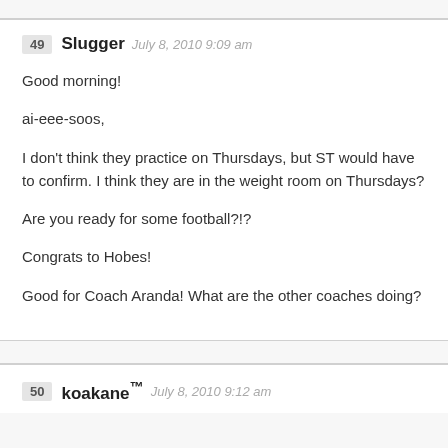49 Slugger July 8, 2010 9:09 am
Good morning!

ai-eee-soos,

I don't think they practice on Thursdays, but ST would have to confirm. I think they are in the weight room on Thursdays?

Are you ready for some football?!?

Congrats to Hobes!

Good for Coach Aranda! What are the other coaches doing?
50 koakane™ July 8, 2010 9:12 am